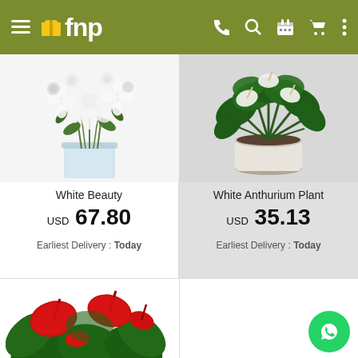fnp - flowers and plants shopping app navigation bar
[Figure (photo): White Beauty flower bouquet in a glass vase with white lilies, roses and greenery]
White Beauty
USD 67.80
Earliest Delivery : Today
[Figure (photo): White Anthurium Plant in a white ceramic pot with green leaves and white flowers]
White Anthurium Plant
USD 35.13
Earliest Delivery : Today
[Figure (photo): Red anthurium plant with bright red flowers and green leaves, partially visible at bottom]
[Figure (logo): WhatsApp circular green button/icon]